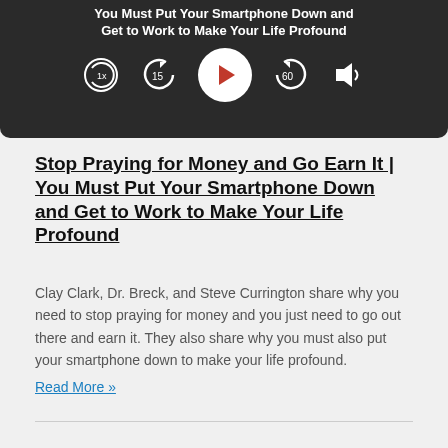[Figure (other): Podcast player widget with dark background showing title 'You Must Put Your Smartphone Down and Get to Work to Make Your Life Profound', playback controls including 1x speed, rewind 15s, play button, forward 60s, and volume icon]
Stop Praying for Money and Go Earn It | You Must Put Your Smartphone Down and Get to Work to Make Your Life Profound
Clay Clark, Dr. Breck, and Steve Currington share why you need to stop praying for money and you just need to go out there and earn it. They also share why you must also put your smartphone down to make your life profound.
Read More »